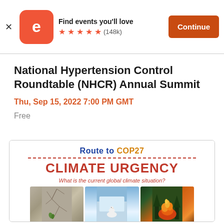Find events you'll love ★★★★★ (148k) Continue
National Hypertension Control Roundtable (NHCR) Annual Summit
Thu, Sep 15, 2022 7:00 PM GMT
Free
[Figure (infographic): Route to COP27 CLIMATE URGENCY banner with tagline 'What is the current global climate situation?' and three images: cracked earth/drought, polar bear on glacier, and wildfire]